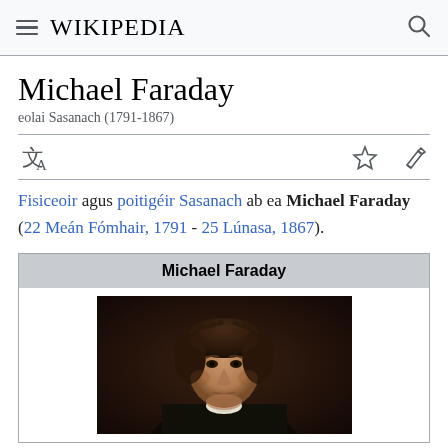Wikipedia
Michael Faraday
eolai Sasanach (1791-1867)
Fisiceoir agus poitigéir Sasanach ab ea Michael Faraday (22 Meán Fómhair, 1791 - 25 Lúnasa, 1867).
| Michael Faraday |
| --- |
| [portrait image] |
[Figure (photo): Oil portrait of Michael Faraday, a young man with dark curly hair, wearing a dark coat, dark background]